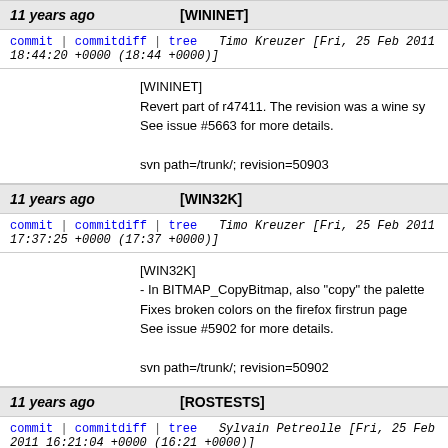11 years ago   [WININET]
commit | commitdiff | tree   Timo Kreuzer [Fri, 25 Feb 2011 18:44:20 +0000 (18:44 +0000)]
[WININET]
Revert part of r47411. The revision was a wine sy
See issue #5663 for more details.

svn path=/trunk/; revision=50903
11 years ago   [WIN32K]
commit | commitdiff | tree   Timo Kreuzer [Fri, 25 Feb 2011 17:37:25 +0000 (17:37 +0000)]
[WIN32K]
- In BITMAP_CopyBitmap, also "copy" the palette
Fixes broken colors on the firefox firstrun page
See issue #5902 for more details.

svn path=/trunk/; revision=50902
11 years ago   [ROSTESTS]
commit | commitdiff | tree   Sylvain Petreolle [Fri, 25 Feb 2011 16:21:04 +0000 (16:21 +0000)]